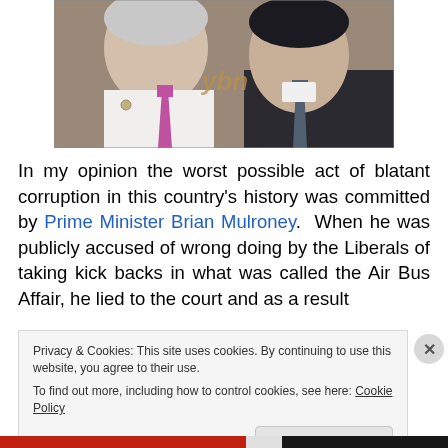[Figure (photo): Two men facing each other and smiling, one older with white hair wearing a white shirt and pink/magenta tie, one younger in a dark suit with a dark tie. A partial sign is visible in the background.]
In my opinion the worst possible act of blatant corruption in this country's history was committed by Prime Minister Brian Mulroney.  When he was publicly accused of wrong doing by the Liberals of taking kick backs in what was called the Air Bus Affair, he lied to the court and as a result
Privacy & Cookies: This site uses cookies. By continuing to use this website, you agree to their use.
To find out more, including how to control cookies, see here: Cookie Policy
Close and accept